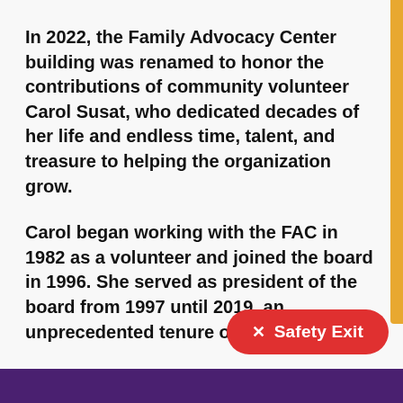In 2022, the Family Advocacy Center building was renamed to honor the contributions of community volunteer Carol Susat, who dedicated decades of her life and endless time, talent, and treasure to helping the organization grow.
Carol began working with the FAC in 1982 as a volunteer and joined the board in 1996. She served as president of the board from 1997 until 2019, an unprecedented tenure of leadership.